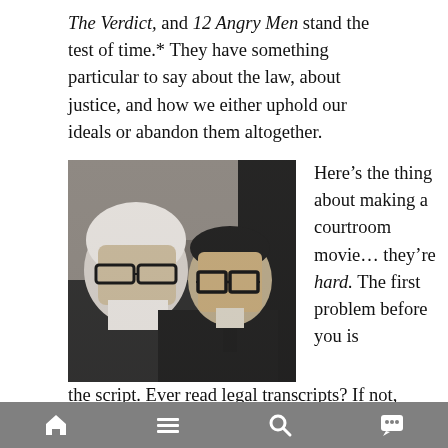The Verdict, and 12 Angry Men stand the test of time.* They have something particular to say about the law, about justice, and how we either uphold our ideals or abandon them altogether.
[Figure (photo): Black and white photo of two men in a courtroom setting. One man in foreground wears thick-framed glasses and a dark suit, looking serious. Another man in the left foreground also wears glasses.]
Here’s the thing about making a courtroom movie… they’re hard. The first problem before you is the script. Ever read legal transcripts? If not, they’re a very effective substitution for valium. Your first challenge is to hack through a thicket of impenetrable legal jargon and make it relatable from an emotional standpoint. After that, you’ll need to reckon with a very serious directorial challenge. Most moments taking place in courtrooms are not what I would characterize as
home  menu  search  comment